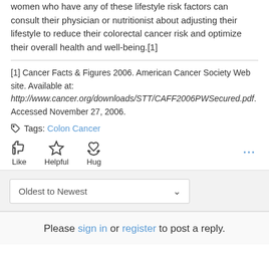Fortunately, these are risk factors that can be changed. Men and women who have any of these lifestyle risk factors can consult their physician or nutritionist about adjusting their lifestyle to reduce their colorectal cancer risk and optimize their overall health and well-being.[1]
[1] Cancer Facts & Figures 2006. American Cancer Society Web site. Available at: http://www.cancer.org/downloads/STT/CAFF2006PWSecured.pdf. Accessed November 27, 2006.
Tags: Colon Cancer
[Figure (infographic): Reaction buttons: thumbs up (Like), star (Helpful), heart hands (Hug), and ellipsis menu]
Oldest to Newest dropdown
Please sign in or register to post a reply.